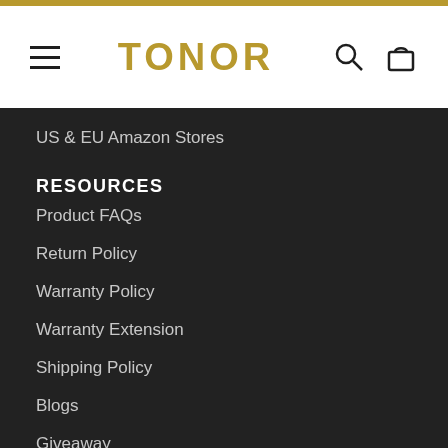TONOR
US & EU Amazon Stores
RESOURCES
Product FAQs
Return Policy
Warranty Policy
Warranty Extension
Shipping Policy
Blogs
Giveaway
ABOUT TONOR